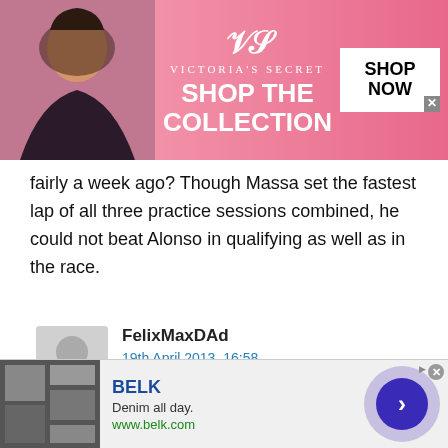[Figure (illustration): Victoria's Secret advertisement banner with model, VS logo, 'SHOP THE COLLECTION' text, and 'SHOP NOW' button]
fairly a week ago? Though Massa set the fastest lap of all three practice sessions combined, he could not beat Alonso in qualifying as well as in the race.
FelixMaxDAd
19th April 2013, 16:58
Well said.
SeaHorse (@seahorse)
19th April 2013, 10:02
[Figure (photo): Bottom advertisement for BELK - Denim all day. www.belk.com with navigation arrow button]